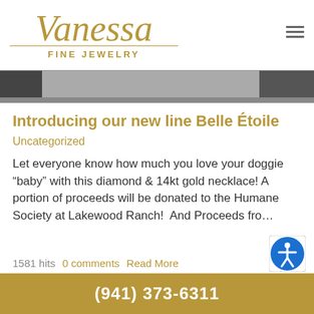Vanessa Fine Jewelry
[Figure (photo): Partial photo of jewelry or store interior, shown as a dark horizontal strip]
Introducing our new line Belle Étoile
Uncategorized
Let everyone know how much you love your doggie “baby” with this diamond & 14kt gold necklace! A portion of proceeds will be donated to the Humane Society at Lakewood Ranch!  And Proceeds fro…
1581 hits   0 comments   Read More
(941) 373-6311